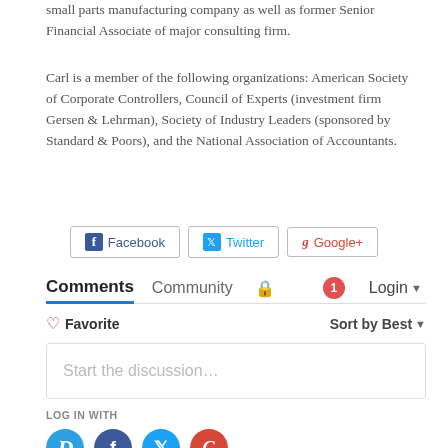small parts manufacturing company as well as former Senior Financial Associate of major consulting firm.
Carl is a member of the following organizations: American Society of Corporate Controllers, Council of Experts (investment firm Gersen & Lehrman), Society of Industry Leaders (sponsored by Standard & Poors), and the National Association of Accountants.
[Figure (other): Social share buttons: Facebook, Twitter, Google+]
[Figure (other): Comments section UI with tabs: Comments, Community, lock icon, notification badge 1, Login dropdown. Favorite button, Sort by Best dropdown. Start the discussion text box. Log in with social icons: Disqus, Facebook, Twitter, Google.]